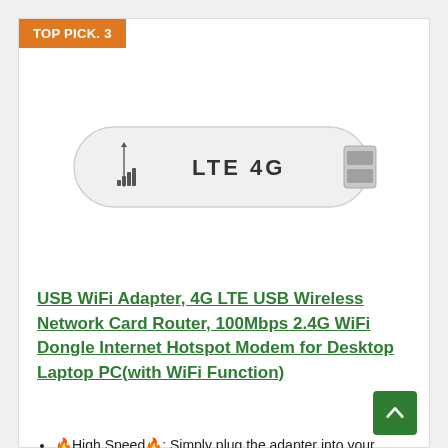TOP PICK. 3
[Figure (photo): White LTE 4G USB WiFi dongle modem with signal bar icons on the left side and 'LTE 4G' text on the body]
USB WiFi Adapter, 4G LTE USB Wireless Network Card Router, 100Mbps 2.4G WiFi Dongle Internet Hotspot Modem for Desktop Laptop PC(with WiFi Function)
🔥High Speed🔥: Simply plug the adapter into your